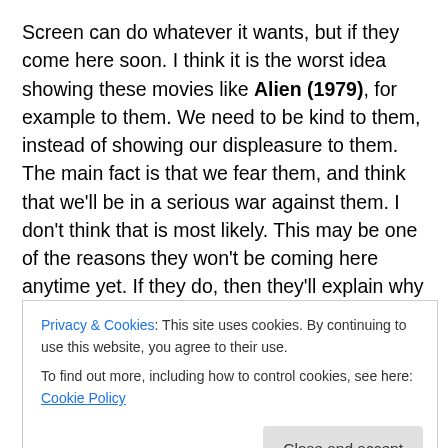Screen can do whatever it wants, but if they come here soon. I think it is the worst idea showing these movies like Alien (1979), for example to them. We need to be kind to them, instead of showing our displeasure to them. The main fact is that we fear them, and think that we'll be in a serious war against them. I don't think that is most likely. This may be one of the reasons they won't be coming here anytime yet. If they do, then they'll explain why they didn't come here. They don't want to start a war against us. I think in my view that most humans do think so. I don't want to start a war against them, and I think they are
Privacy & Cookies: This site uses cookies. By continuing to use this website, you agree to their use.
To find out more, including how to control cookies, see here: Cookie Policy
Close and accept
of the reasons they probably won't be coming on our